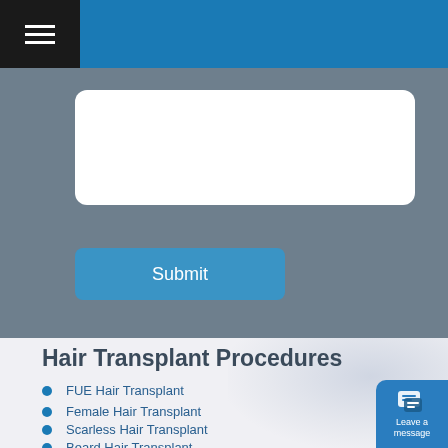Navigation bar with hamburger menu
[Figure (screenshot): Gray form section with white rounded textarea input box and a blue Submit button]
Submit
Hair Transplant Procedures
FUE Hair Transplant
Female Hair Transplant
Scarless Hair Transplant
Beard Hair Transplant